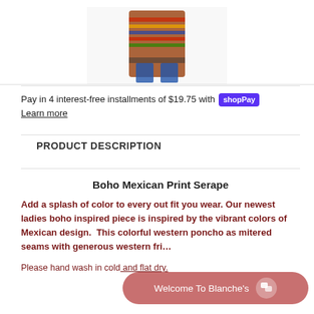[Figure (photo): Partial product photo of a person wearing a Boho Mexican Print Serape poncho, showing the torso area with colorful pattern and jeans visible at the bottom.]
Pay in 4 interest-free installments of $19.75 with Shop Pay
Learn more
PRODUCT DESCRIPTION
Boho Mexican Print Serape
Add a splash of color to every out fit you wear. Our newest ladies boho inspired piece is inspired by the vibrant colors of Mexican design.  This colorful western poncho as mitered seams with generous western fri...
Please hand wash in cold and flat dry.